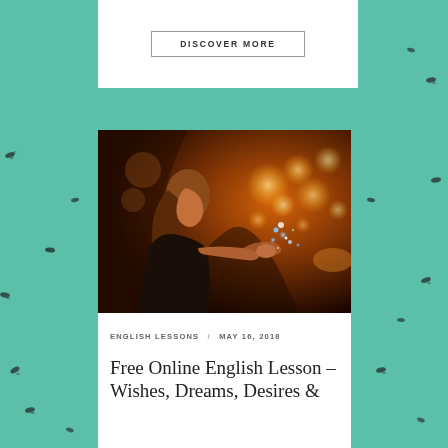DISCOVER MORE
[Figure (photo): A woman in a dark jacket blowing glowing sparkles from her hands at night, with warm bokeh city lights in the background.]
ENGLISH LESSONS / MAY 16, 2018
Free Online English Lesson – Wishes, Dreams, Desires &